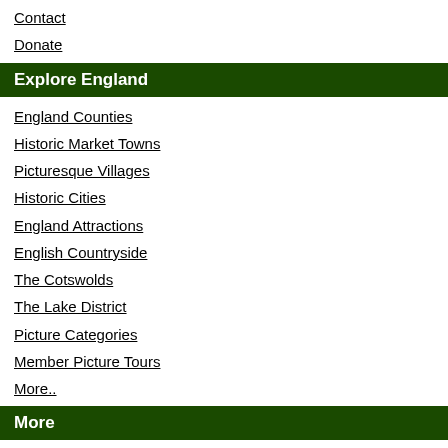Contact
Donate
Explore England
England Counties
Historic Market Towns
Picturesque Villages
Historic Cities
England Attractions
English Countryside
The Cotswolds
The Lake District
Picture Categories
Member Picture Tours
More..
More
England Articles
England Facts
England Poems
History of England
Famous Britons
England Flags
England Map
England Accommodation